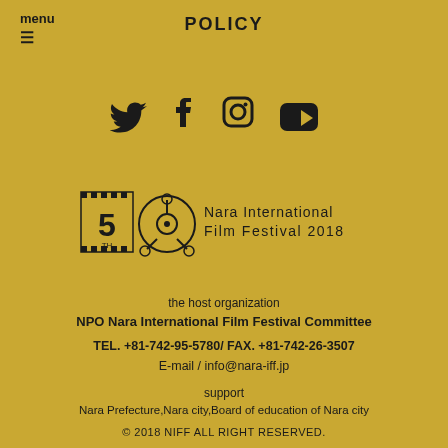POLICY
menu
[Figure (other): Social media icons: Twitter, Facebook, Instagram, YouTube]
[Figure (logo): 5th Nara International Film Festival 2018 logo with film reel icon]
the host organization
NPO Nara International Film Festival Committee
TEL. +81-742-95-5780/ FAX. +81-742-26-3507
E-mail / info@nara-iff.jp
support
Nara Prefecture,Nara city,Board of education of Nara city
© 2018 NIFF ALL RIGHT RESERVED.